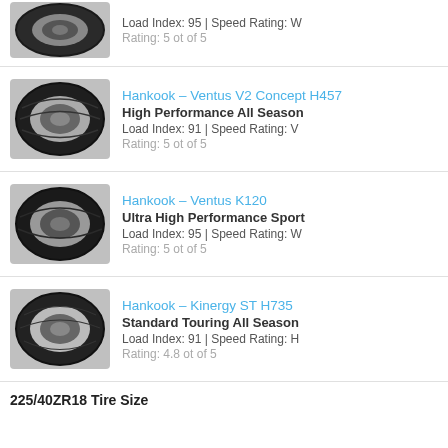[Figure (photo): Tire image - top item (partial, cropped at top)]
Load Index: 95 | Speed Rating: W
Rating: 5 ot of 5
[Figure (photo): Hankook Ventus V2 Concept H457 tire image]
Hankook – Ventus V2 Concept H457
High Performance All Season
Load Index: 91 | Speed Rating: V
Rating: 5 ot of 5
[Figure (photo): Hankook Ventus K120 tire image]
Hankook – Ventus K120
Ultra High Performance Sport
Load Index: 95 | Speed Rating: W
Rating: 5 ot of 5
[Figure (photo): Hankook Kinergy ST H735 tire image]
Hankook – Kinergy ST H735
Standard Touring All Season
Load Index: 91 | Speed Rating: H
Rating: 4.8 ot of 5
225/40ZR18 Tire Size